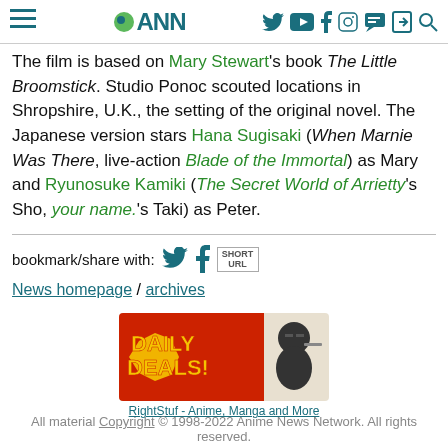ANN (Anime News Network) navigation header
The film is based on Mary Stewart's book The Little Broomstick. Studio Ponoc scouted locations in Shropshire, U.K., the setting of the original novel. The Japanese version stars Hana Sugisaki (When Marnie Was There, live-action Blade of the Immortal) as Mary and Ryunosuke Kamiki (The Secret World of Arrietty's Sho, your name.'s Taki) as Peter.
bookmark/share with:
News homepage / archives
[Figure (illustration): RightStuf Daily Deals advertisement banner featuring a ninja character]
RightStuf - Anime, Manga and More
All material Copyright © 1998-2022 Anime News Network. All rights reserved.